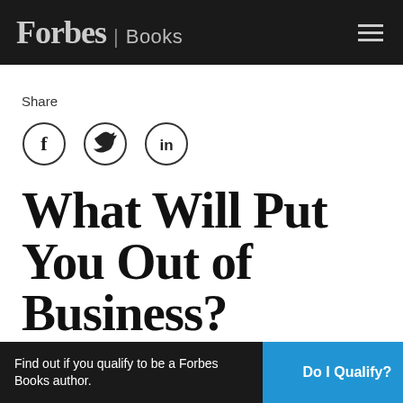Forbes | Books
Share
[Figure (other): Social share icons: Facebook, Twitter, LinkedIn as circular outlined buttons]
What Will Put You Out of Business?
July 19, 2018   Brent Tilson
Find out if you qualify to be a Forbes Books author.   Do I Qualify?